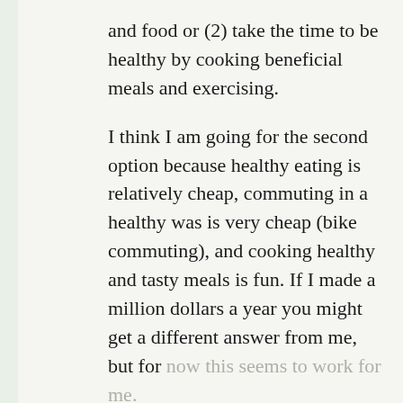and food or (2) take the time to be healthy by cooking beneficial meals and exercising.
I think I am going for the second option because healthy eating is relatively cheap, commuting in a healthy was is very cheap (bike commuting), and cooking healthy and tasty meals is fun. If I made a million dollars a year you might get a different answer from me, but for now this seems to work for me.